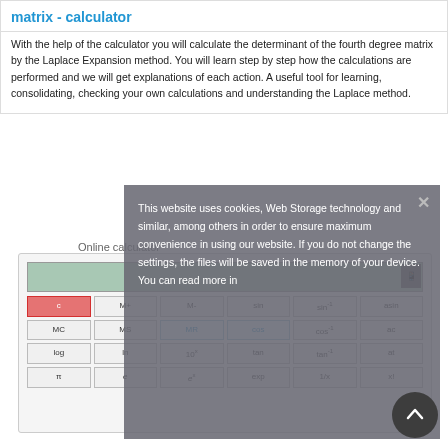matrix - calculator
With the help of the calculator you will calculate the determinant of the fourth degree matrix by the Laplace Expansion method. You will learn step by step how the calculations are performed and we will get explanations of each action. A useful tool for learning, consolidating, checking your own calculations and understanding the Laplace method.
Online calculator
This website uses cookies, Web Storage technology and similar, among others in order to ensure maximum convenience in using our website. If you do not change the settings, the files will be saved in the memory of your device. You can read more in
[Figure (screenshot): Cookie consent overlay on top of an online scientific calculator showing buttons: C, M+, M-, sin, sin⁻¹, asin, MC, MS, MR, cos, cos⁻¹, ac, log, ln, 10ˣ, tan, tan⁻¹, at, π, e, eˣ, exp, 1/x, x!, and a back-to-top arrow button]